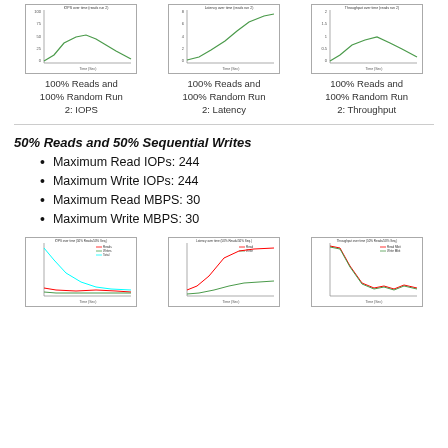[Figure (continuous-plot): Line chart: 100% Reads and 100% Random Run 2: IOPS, green line over time]
[Figure (continuous-plot): Line chart: 100% Reads and 100% Random Run 2: Latency, green line over time]
[Figure (continuous-plot): Line chart: 100% Reads and 100% Random Run 2: Throughput, green line over time]
100% Reads and 100% Random Run 2: IOPS
100% Reads and 100% Random Run 2: Latency
100% Reads and 100% Random Run 2: Throughput
50% Reads and 50% Sequential Writes
Maximum Read IOPs: 244
Maximum Write IOPs: 244
Maximum Read MBPS: 30
Maximum Write MBPS: 30
[Figure (continuous-plot): Line chart: IOPS over time (50% Reads/50% Sequential Writes), multiple colored lines descending]
[Figure (continuous-plot): Line chart: Latency over time (50% Reads/50% Sequential Writes), red and green lines]
[Figure (continuous-plot): Line chart: Throughput over time (50% Reads/50% Sequential Writes), red and green lines]